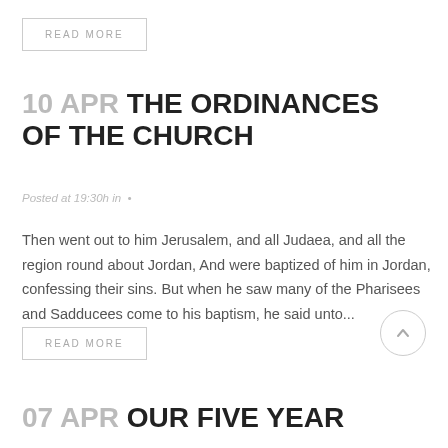READ MORE
10 APR THE ORDINANCES OF THE CHURCH
Posted at 19:30h in •
Then went out to him Jerusalem, and all Judaea, and all the region round about Jordan, And were baptized of him in Jordan, confessing their sins. But when he saw many of the Pharisees and Sadducees come to his baptism, he said unto...
READ MORE
07 APR OUR FIVE YEAR